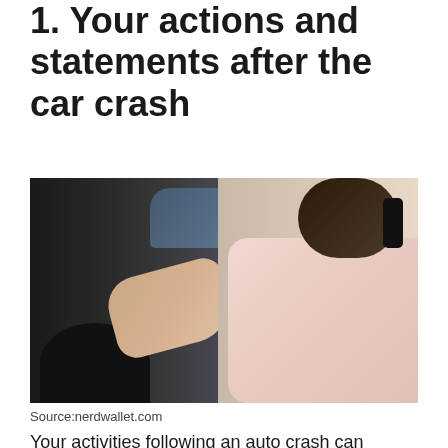1. Your actions and statements after the car crash
[Figure (photo): Woman in pink sweater touching damaged car while talking on phone, examining car damage after an auto accident]
Source:nerdwallet.com
Your activities following an auto crash can altogether affect your physical issue